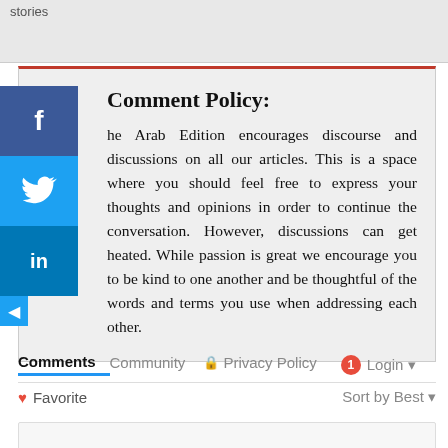stories
Comment Policy:
The Arab Edition encourages discourse and discussions on all our articles. This is a space where you should feel free to express your thoughts and opinions in order to continue the conversation. However, discussions can get heated. While passion is great we encourage you to be kind to one another and be thoughtful of the words and terms you use when addressing each other.
Comments  Community  🔒 Privacy Policy  1  Login  ▾
♡ Favorite    Sort by Best ▾